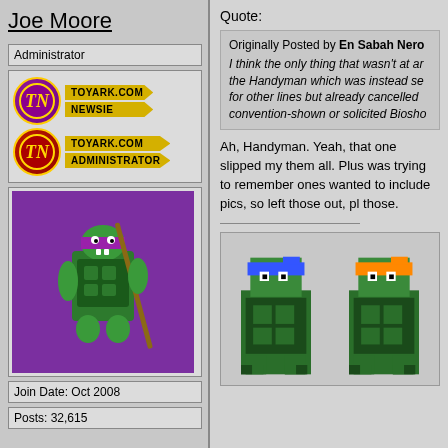Joe Moore
Administrator
[Figure (illustration): ToyArk.com Newsie badge with purple circle and TN logo]
[Figure (illustration): Avatar image: pixel art Donatello TMNT on purple background]
Join Date: Oct 2008
Posts: 32,615
Quote:
Originally Posted by En Sabah Nero
I think the only thing that wasn't at ar the Handyman which was instead se for other lines but already cancelled convention-shown or solicited Biosho
Ah, Handyman. Yeah, that one slipped my them all. Plus was trying to remember ones wanted to include pics, so left those out, pl those.
[Figure (illustration): Pixel art TMNT characters - Leonardo (blue) and Michelangelo (orange)]